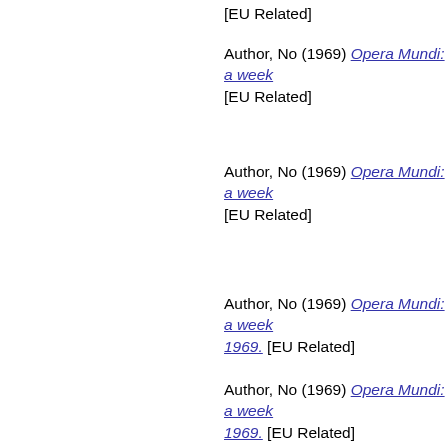[EU Related]
Author, No (1969) Opera Mundi: a week... [EU Related]
Author, No (1969) Opera Mundi: a week... [EU Related]
Author, No (1969) Opera Mundi: a week... [EU Related]
Author, No (1969) Opera Mundi: a week... 1969. [EU Related]
Author, No (1969) Opera Mundi: a week... 1969. [EU Related]
Author, No (1969) Opera Mundi: a week... 1969. [EU Related]
Author, No (1969) Opera Mundi: a week... 1969. [EU Related]
Author, No (1969) Opera Mundi: a week... 7, 1969. [EU Related]